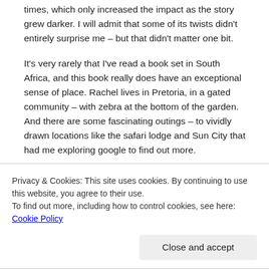times, which only increased the impact as the story grew darker. I will admit that some of its twists didn't entirely surprise me – but that didn't matter one bit.
It's very rarely that I've read a book set in South Africa, and this book really does have an exceptional sense of place. Rachel lives in Pretoria, in a gated community – with zebra at the bottom of the garden. And there are some fascinating outings – to vividly drawn locations like the safari lodge and Sun City that had me exploring google to find out more.
I really enjoyed the book's focus on family and what it
Privacy & Cookies: This site uses cookies. By continuing to use this website, you agree to their use.
To find out more, including how to control cookies, see here: Cookie Policy